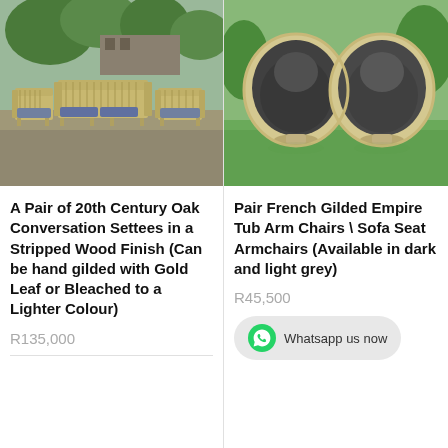[Figure (photo): Outdoor photo of a set of 20th century oak conversation settees with blue cushions in a stripped wood finish, arranged in a garden/driveway setting]
A Pair of 20th Century Oak Conversation Settees in a Stripped Wood Finish (Can be hand gilded with Gold Leaf or Bleached to a Lighter Colour)
R135,000
[Figure (photo): Outdoor photo of a pair of French Gilded Empire Tub Arm Chairs / Sofa Seat Armchairs with dark grey cushions, on a grass lawn]
Pair French Gilded Empire Tub Arm Chairs \ Sofa Seat Armchairs (Available in dark and light grey)
R45,500
Whatsapp us now